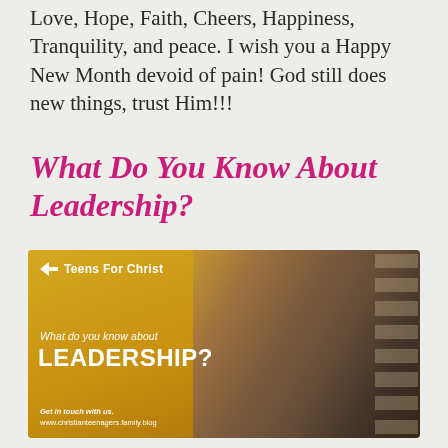Love, Hope, Faith, Cheers, Happiness, Tranquility, and peace. I wish you a Happy New Month devoid of pain! God still does new things, trust Him!!!
What Do You Know About Leadership?
[Figure (infographic): Teens For Christ branded image showing a young man holding a phone, with gold background on left side. Text reads: 'What do you know about LEADERSHIP?' with website www.christianteenagers.family.blog]
As a teenager, is it necessary for me to start learning about Leadership? Acquiring the